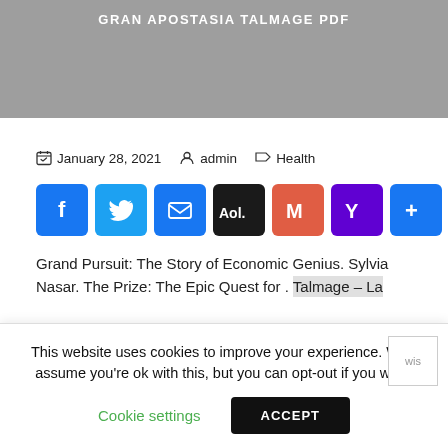GRAN APOSTASIA TALMAGE PDF
January 28, 2021   admin   Health
[Figure (infographic): Social share buttons: Facebook, Twitter, Email, AOL, Gmail, Yahoo, More (+)]
Grand Pursuit: The Story of Economic Genius. Sylvia Nasar. The Prize: The Epic Quest for . Talmage – La
This website uses cookies to improve your experience. We'll assume you're ok with this, but you can opt-out if you wish.
Cookie settings   ACCEPT